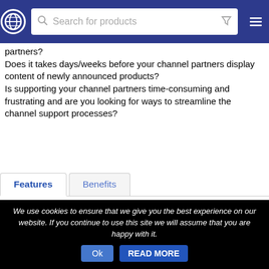Search for products
partners?
Does it takes days/weeks before your channel partners display content of newly announced products?
Is supporting your channel partners time-consuming and frustrating and are you looking for ways to streamline the channel support processes?
Features | Benefits
Free of charge product content: All your channel partners can get the Open Icecat content for free, worldwide.
Easy to access for your channel partners: Open Icecat product content is easy to integrate as URL-links, XML data, via standard webshop interfaces and as an MySQL database.
Co-operation with distributors & platforms: International distributors and platform (solution providers) distribute Open Icecat content towards their connected channel partners
We use cookies to ensure that we give you the best experience on our website. If you continue to use this site we will assume that you are happy with it.